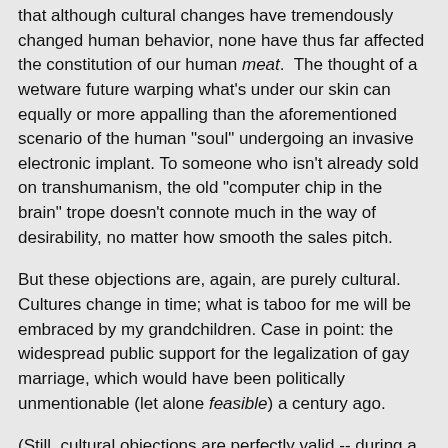that although cultural changes have tremendously changed human behavior, none have thus far affected the constitution of our human meat. The thought of a wetware future warping what's under our skin can equally or more appalling than the aforementioned scenario of the human "soul" undergoing an invasive electronic implant. To someone who isn't already sold on transhumanism, the old "computer chip in the brain" trope doesn't connote much in the way of desirability, no matter how smooth the sales pitch.
But these objections are, again, are purely cultural. Cultures change in time; what is taboo for me will be embraced by my grandchildren. Case in point: the widespread public support for the legalization of gay marriage, which would have been politically unmentionable (let alone feasible) a century ago.
(Still, cultural objections are perfectly valid -- during a given moment. Just don't count on "accepted" reasoning to stay on your side for very long. You must also acknowledge that your objections probably spring more from opinion than reason.)
Besides: we are already modifying our bodies. Eyeglasses: